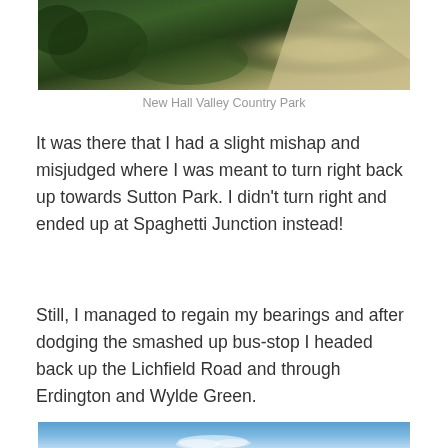[Figure (photo): Aerial or elevated view of New Hall Valley Country Park showing green vegetation on the left and a light-colored gravel or sandy path on the right]
New Hall Valley Country Park
It was there that I had a slight mishap and misjudged where I was meant to turn right back up towards Sutton Park. I didn’t turn right and ended up at Spaghetti Junction instead!
Still, I managed to regain my bearings and after dodging the smashed up bus-stop I headed back up the Lichfield Road and through Erdington and Wylde Green.
[Figure (photo): Partial view of a blue sky with light clouds, bottom portion of image cut off]